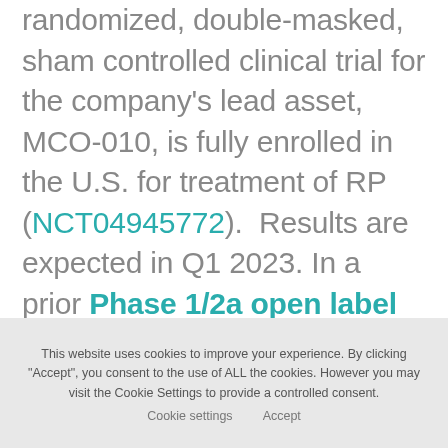randomized, double-masked, sham controlled clinical trial for the company's lead asset, MCO-010, is fully enrolled in the U.S. for treatment of RP (NCT04945772).  Results are expected in Q1 2023. In a prior Phase 1/2a open label trial of MCO-010, RP patients experienced restoration of vision to a level sufficient to resume activities of daily living.
This website uses cookies to improve your experience. By clicking "Accept", you consent to the use of ALL the cookies. However you may visit the Cookie Settings to provide a controlled consent.   Cookie settings   Accept